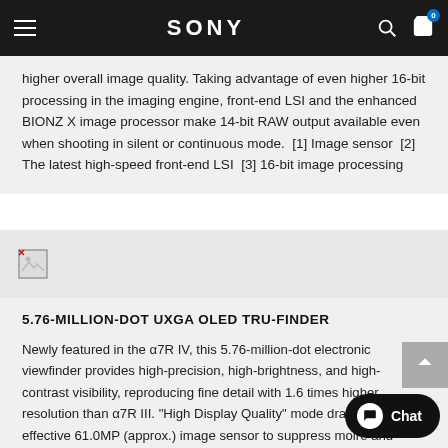SONY
higher overall image quality. Taking advantage of even higher 16-bit processing in the imaging engine, front-end LSI and the enhanced BIONZ X image processor make 14-bit RAW output available even when shooting in silent or continuous mode. [1] Image sensor [2] The latest high-speed front-end LSI [3] 16-bit image processing
[Figure (photo): Product image placeholder (broken image icon)]
5.76-MILLION-DOT UXGA OLED TRU-FINDER
Newly featured in the α7R IV, this 5.76-million-dot electronic viewfinder provides high-precision, high-brightness, and high-contrast visibility, reproducing fine detail with 1.6 times higher resolution than α7R III. "High Display Quality" mode draws on the effective 61.0MP (approx.) image sensor to suppress moiré and jaggies for highly precise and natural images on viewfinder. 120/100fps of "High" finder frame rate mode shows smooth motion, so it's simpler to trace moving subjects. Fluorine coating